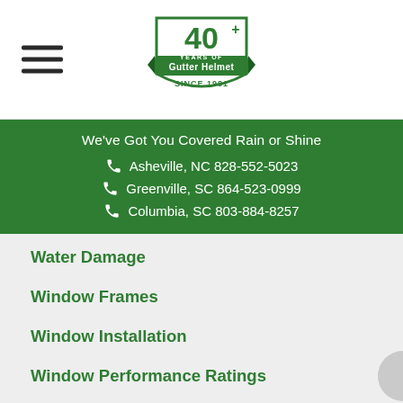[Figure (logo): Gutter Helmet 40+ Years Since 1981 logo, green shield with banner]
We've Got You Covered Rain or Shine
Asheville, NC 828-552-5023
Greenville, SC 864-523-0999
Columbia, SC 803-884-8257
Water Damage
Window Frames
Window Installation
Window Performance Ratings
Window Replacement
Window Styles
Windows' Energy Efficiency